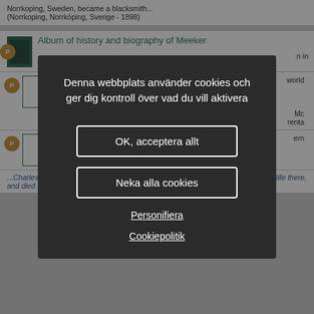Norrkoping, Sweden, became a blacksmith...  (Norrkoping, Norrköping, Sverige - 1898)
Album of history and biography of Meeker
n in
world
Mc
renta
ern
...Charles was a son of Heinrich Berggren, a stone mason of Smoland, passed his life there, and died in 1892,... (Smoland, Pennsylvania, Amerikas förenta stater - 1892)
Denna webbplats använder cookies och ger dig kontroll över vad du vill aktivera
OK, acceptera allt
Neka alla cookies
Personifiera
Cookiepolitik